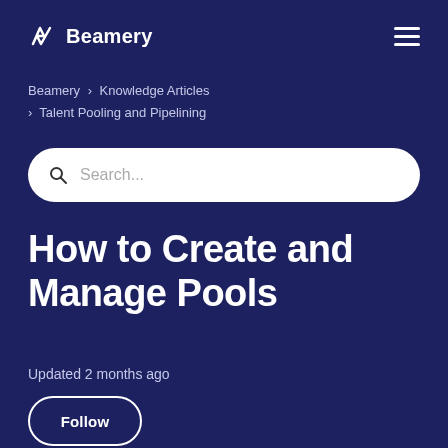Beamery
Beamery › Knowledge Articles › Talent Pooling and Pipelining
Search...
How to Create and Manage Pools
Updated 2 months ago
Follow